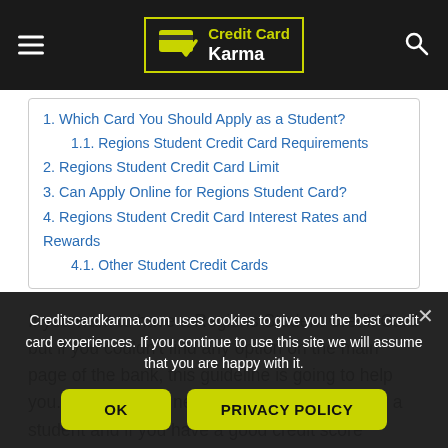Credit Card Karma
1. Which Card You Should Apply as a Student?
1.1. Regions Student Credit Card Requirements
2. Regions Student Credit Card Limit
3. Can Apply Online for Regions Student Card?
4. Regions Student Credit Card Interest Rates and Rewards
4.1. Other Student Credit Cards
If you want to have a Regions Student Credit Card but if you couldn't find any option on the main page of the bank, this guideline is going to help you. However you need to know that if you are a student and if you have a good credit score
Creditscardkarma.com uses cookies to give you the best credit card experiences. If you continue to use this site we will assume that you are happy with it.